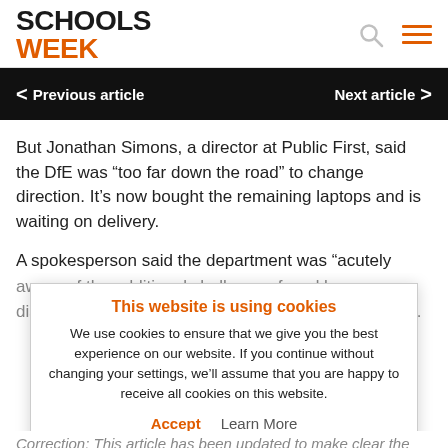SCHOOLS WEEK
< Previous article    Next article >
But Jonathan Simons, a director at Public First, said the DfE was “too far down the road” to change direction. It’s now bought the remaining laptops and is waiting on delivery.
A spokesperson said the department was “acutely aware of the additional challenges faced by disadvantaged pupils” but continuing at home would...
This website is using cookies
We use cookies to ensure that we give you the best experience on our website. If you continue without changing your settings, we’ll assume that you are happy to receive all cookies on this website.
Accept   Learn More
Correction: This article has been updated to make clear the Ofcom study related to the UK.